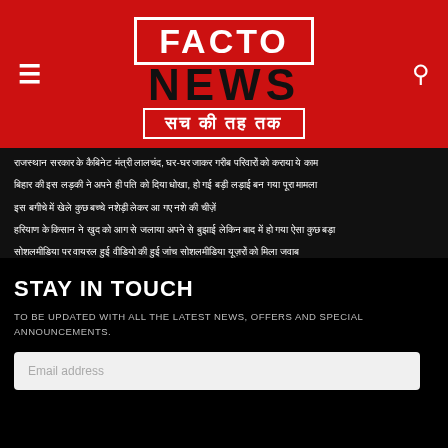[Figure (logo): Facto News logo with red background, 'FACTO' in white on red banner, 'NEWS' in black bold, Hindi tagline 'सच की तह तक' on red banner]
राजस्थान सरकार के कैबिनेट मंत्री लालचंद, घर-घर जाकर गरीब परिवारों को कराया ये काम
बिहार की इस लड़की ने अपने ही पति को दिया धोखा, हो गई बड़ी लड़ाई बन गया पूरा मामला
इस बगीचे में खेले कुछ बच्चे नशेड़ी लेकर आ गए नशे की चीज़ें
हरियाण के किसान ने खुद को आग से जलाया अपने से बुझाई लेकिन बाद में हो गया ऐसा कुछ बड़ा
सोशलमीडिया पर वायरल हुई वीडियो की हुई जांच सोशलमीडिया यूज़रों को मिला जवाब
STAY IN TOUCH
TO BE UPDATED WITH ALL THE LATEST NEWS, OFFERS AND SPECIAL ANNOUNCEMENTS.
Email address